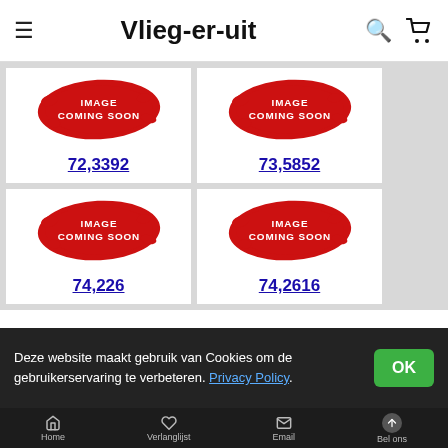Vlieg-er-uit
[Figure (illustration): IMAGE COMING SOON badge - red splatter shape with white text, product 72,3392]
72,3392
[Figure (illustration): IMAGE COMING SOON badge - red splatter shape with white text, product 73,5852]
73,5852
[Figure (illustration): IMAGE COMING SOON badge - red splatter shape with white text, product 74,226]
74,226
[Figure (illustration): IMAGE COMING SOON badge - red splatter shape with white text, product 74,2616]
74,2616
Deze website maakt gebruik van Cookies om de gebruikerservaring te verbeteren. Privacy Policy.
Home | Verlanglijst | Email | Bel ons